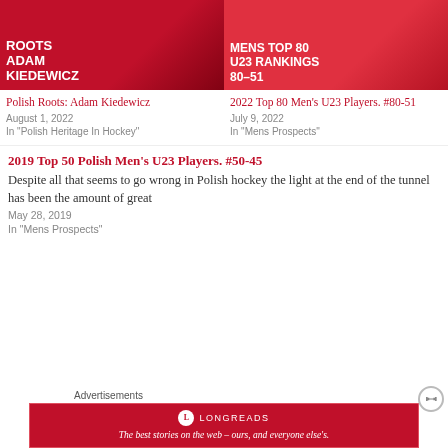[Figure (photo): Article thumbnail for Polish Roots: Adam Kiedewicz – dark red background with hockey player silhouette and white bold text reading ROOTS ADAM KIEDEWICZ]
Polish Roots: Adam Kiedewicz
August 1, 2022
In "Polish Heritage In Hockey"
[Figure (photo): Article thumbnail for 2022 Top 80 Men's U23 Rankings #80-51 – red background with hockey goalie and bold white text MENS TOP 80 U23 RANKINGS 80-51]
2022 Top 80 Men's U23 Players. #80-51
July 9, 2022
In "Mens Prospects"
2019 Top 50 Polish Men's U23 Players. #50-45
Despite all that seems to go wrong in Polish hockey the light at the end of the tunnel has been the amount of great
May 28, 2019
In "Mens Prospects"
Advertisements
[Figure (screenshot): Longreads advertisement banner: red background with Longreads logo and tagline 'The best stories on the web – ours, and everyone else's.']